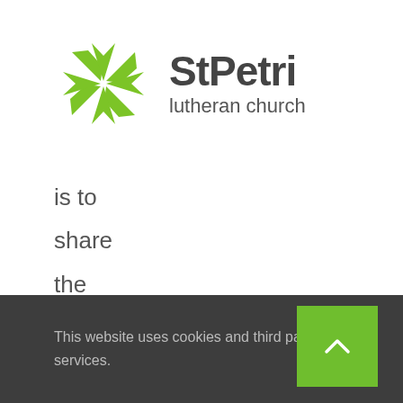[Figure (logo): StPetri Lutheran Church logo with green cross/star icon and dark grey text reading 'StPetri lutheran church']
is to

share

the

love

and

hope

of

Jesus
This website uses cookies and third party services.